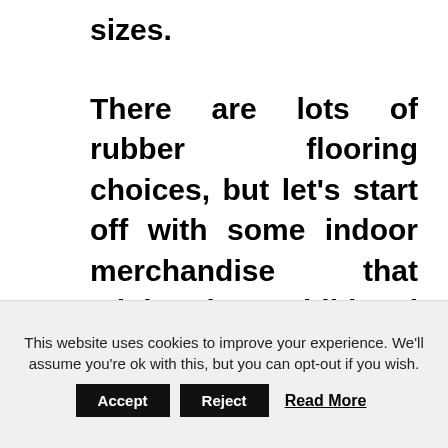sizes.
There are lots of rubber flooring choices, but let's start off with some indoor merchandise that might be additional comfortable and soft than outside rubber tiles. Interlocking rubber floor tiles can be moulded into a number of shapes and
This website uses cookies to improve your experience. We'll assume you're ok with this, but you can opt-out if you wish.